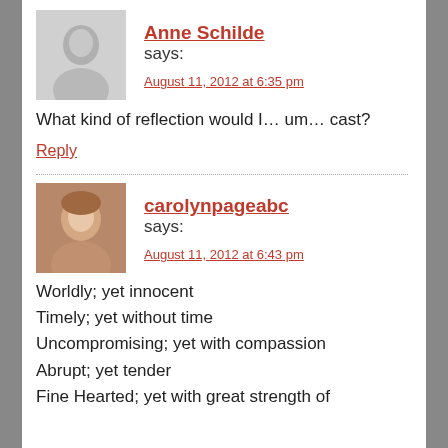[Figure (photo): Avatar photo of Anne Schilde, grayscale portrait]
Anne Schilde says:
August 11, 2012 at 6:35 pm
What kind of reflection would I… um… cast?
Reply
[Figure (photo): Avatar photo of carolynpageabc, color portrait of a woman]
carolynpageabc says:
August 11, 2012 at 6:43 pm
Worldly; yet innocent
Timely; yet without time
Uncompromising; yet with compassion
Abrupt; yet tender
Fine Hearted; yet with great strength of